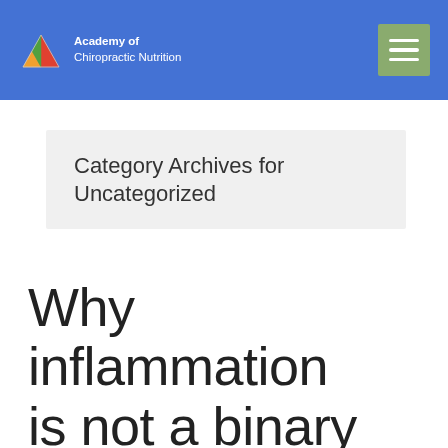Academy of Chiropractic Nutrition
Category Archives for Uncategorized
Why inflammation is not a binary issue